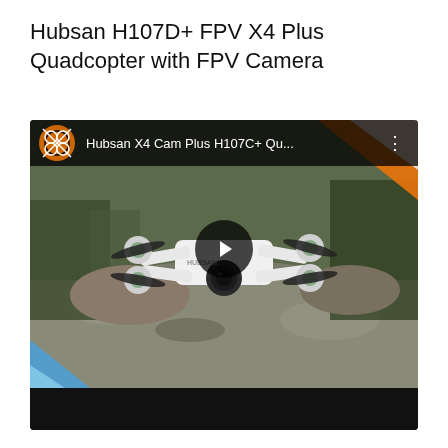Hubsan H107D+ FPV X4 Plus Quadcopter with FPV Camera
[Figure (screenshot): YouTube video thumbnail showing a Hubsan X4 Cam Plus H107C+ quadcopter drone with FPV camera resting on a rock surface outdoors. The video player shows a play button overlay, the video title 'Hubsan X4 Cam Plus H107C+ Qu...' in the top bar with a YouTube-style logo and three-dot menu icon. Orange diagonal stripe in top-right corner and blue stripe in bottom-left corner of the thumbnail.]